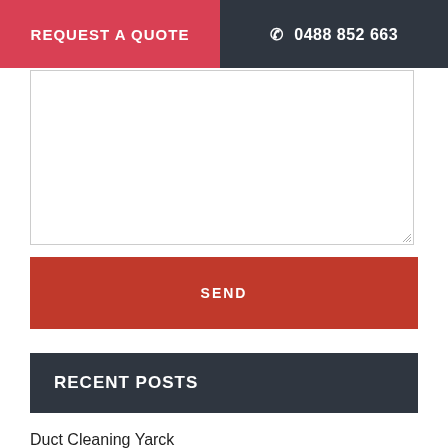REQUEST A QUOTE  ☎ 0488 852 663
[Figure (other): Empty textarea input box with resize handle at bottom right]
SEND
RECENT POSTS
Duct Cleaning Yarck
Duct Cleaning Wattle Park